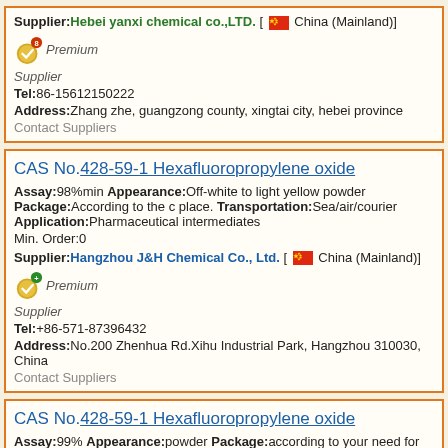Supplier: Hebei yanxi chemical co.,LTD. [ China (Mainland)]
Premium Supplier
Tel:86-15612150222
Address:Zhang zhe, guangzong county, xingtai city, hebei province
Contact Suppliers
CAS No.428-59-1 Hexafluoropropylene oxide
Assay:98%min Appearance:Off-white to light yellow powder Package:According to the c place. Transportation:Sea/air/courier Application:Pharmaceutical intermediates Min. Order:0
Supplier:Hangzhou J&H Chemical Co., Ltd. [ China (Mainland)]
Premium Supplier
Tel:+86-571-87396432
Address:No.200 Zhenhua Rd.Xihu Industrial Park, Hangzhou 310030, China
Contact Suppliers
CAS No.428-59-1 Hexafluoropropylene oxide
Assay:99% Appearance:powder Package:according to your need for packing Storage:dry Transportation:sea,air,courier Application:intermediate Min. Order:1Gram